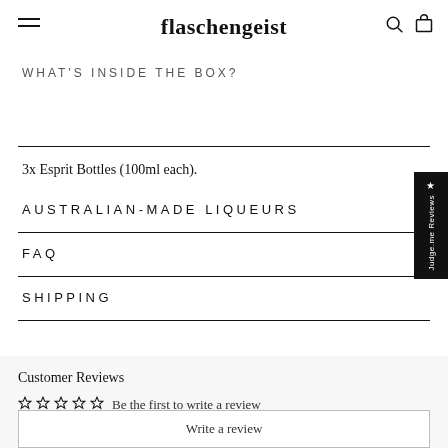flaschengeist
WHAT'S INSIDE THE BOX?
3x Esprit Bottles (100ml each).
AUSTRALIAN-MADE LIQUEURS
FAQ
SHIPPING
Customer Reviews
Be the first to write a review
Write a review